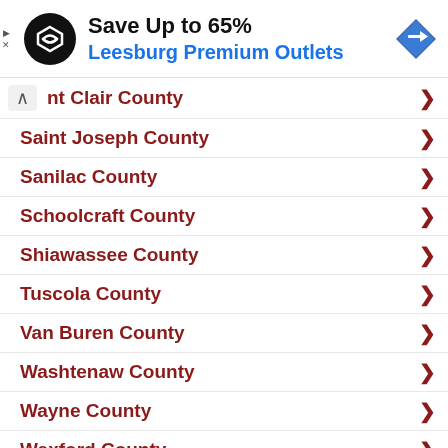[Figure (screenshot): Advertisement banner: Save Up to 65% Leesburg Premium Outlets with logo and navigation icon]
nt Clair County
Saint Joseph County
Sanilac County
Schoolcraft County
Shiawassee County
Tuscola County
Van Buren County
Washtenaw County
Wayne County
Wexford County